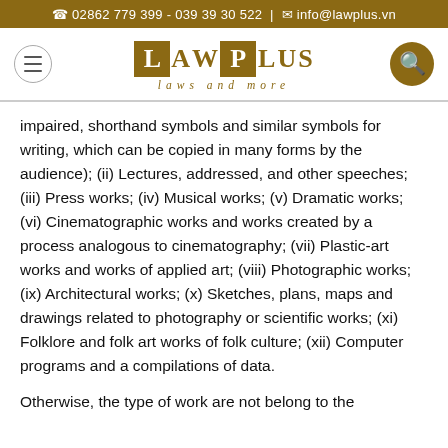☎ 02862 779 399 - 039 39 30 522 | ✉ info@lawplus.vn
[Figure (logo): LAWPLUS laws and more logo with brown/gold color scheme, menu icon on left and search icon on right]
impaired, shorthand symbols and similar symbols for writing, which can be copied in many forms by the audience); (ii) Lectures, addressed, and other speeches; (iii) Press works; (iv) Musical works; (v) Dramatic works; (vi) Cinematographic works and works created by a process analogous to cinematography; (vii) Plastic-art works and works of applied art; (viii) Photographic works; (ix) Architectural works; (x) Sketches, plans, maps and drawings related to photography or scientific works; (xi) Folklore and folk art works of folk culture; (xii) Computer programs and a compilations of data.
Otherwise, the type of work are not belong to the